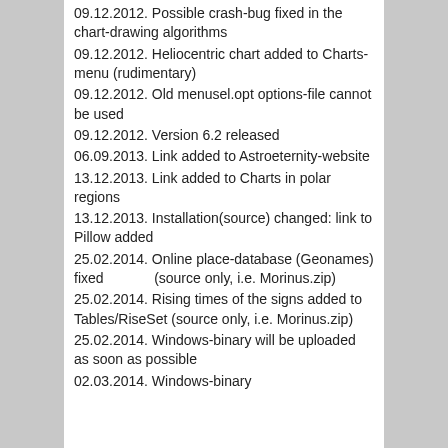09.12.2012. Possible crash-bug fixed in the chart-drawing algorithms
09.12.2012. Heliocentric chart added to Charts-menu (rudimentary)
09.12.2012. Old menusel.opt options-file cannot be used
09.12.2012. Version 6.2 released
06.09.2013. Link added to Astroeternity-website
13.12.2013. Link added to Charts in polar regions
13.12.2013. Installation(source) changed: link to Pillow added
25.02.2014. Online place-database (Geonames) fixed              (source only, i.e. Morinus.zip)
25.02.2014. Rising times of the signs added to Tables/RiseSet (source only, i.e. Morinus.zip)
25.02.2014. Windows-binary will be uploaded as soon as possible
02.03.2014. Windows-binary